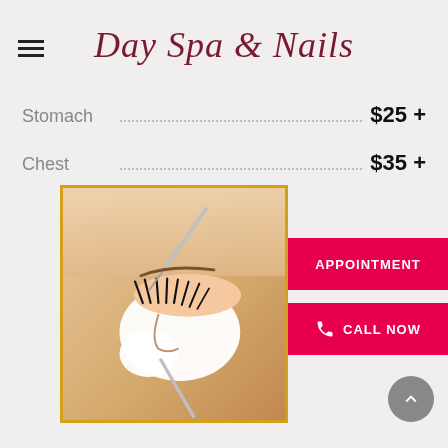Day Spa & Nails
Stomach ... $25 +
Chest ... $35 +
[Figure (photo): Close-up photo of eyelash extension procedure being performed with tweezers on a woman's eye, with a white protective pad under the eye.]
APPOINTMENT
CALL NOW